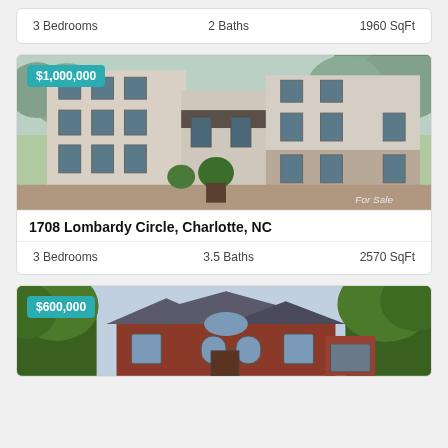3 Bedrooms   2 Baths   1960 SqFt
[Figure (photo): Exterior photo of multi-story residential building at 1708 Lombardy Circle, Charlotte NC. Price badge shows $1,000,000. ForSale watermark at bottom right.]
1708 Lombardy Circle, Charlotte, NC
3 Bedrooms   3.5 Baths   2570 SqFt
[Figure (photo): Exterior photo of brick house with trees. Price badge shows $600,000.]